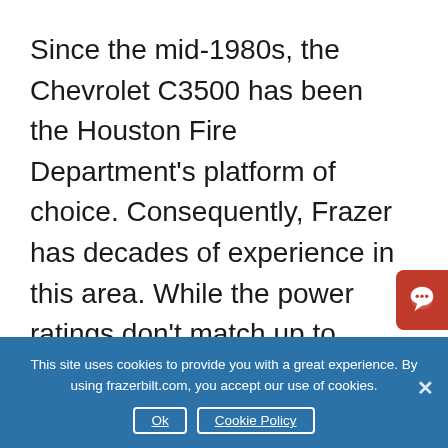Since the mid-1980s, the Chevrolet C3500 has been the Houston Fire Department's platform of choice. Consequently, Frazer has decades of experience in this area. While the power ratings don't match up to those of the diesel engines, there are a number of factors that still make these trucks an attractive option
This site uses cookies to provide you with a great experience. By using frazerbilt.com, you accept our use of cookies.
Ok   Cookie Policy